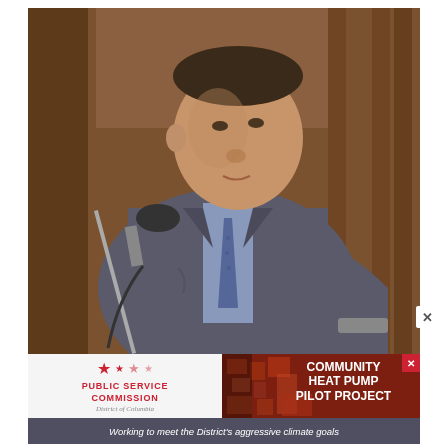[Figure (photo): A man in a gray suit and blue patterned tie sits at a witness stand with a microphone in front of him, in what appears to be a courtroom with wooden paneling in the background.]
[Figure (logo): Public Service Commission District of Columbia logo with red stars and text.]
[Figure (photo): Advertisement for Community Heat Pump Pilot Project showing aerial view of neighborhood with red-toned buildings.]
Working to meet the District's aggressive climate goals